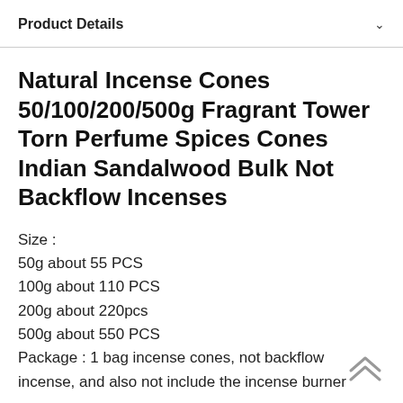Product Details
Natural Incense Cones 50/100/200/500g Fragrant Tower Torn Perfume Spices Cones Indian Sandalwood Bulk Not Backflow Incenses
Size :
50g about 55 PCS
100g about 110 PCS
200g about 220pcs
500g about 550 PCS
Package : 1 bag incense cones, not backflow incense, and also not include the incense burner